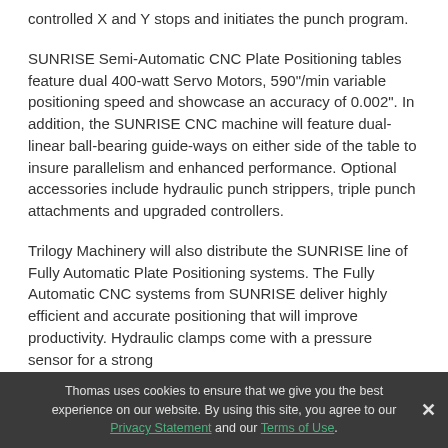controlled X and Y stops and initiates the punch program.
SUNRISE Semi-Automatic CNC Plate Positioning tables feature dual 400-watt Servo Motors, 590"/min variable positioning speed and showcase an accuracy of 0.002". In addition, the SUNRISE CNC machine will feature dual-linear ball-bearing guide-ways on either side of the table to insure parallelism and enhanced performance. Optional accessories include hydraulic punch strippers, triple punch attachments and upgraded controllers.
Trilogy Machinery will also distribute the SUNRISE line of Fully Automatic Plate Positioning systems. The Fully Automatic CNC systems from SUNRISE deliver highly efficient and accurate positioning that will improve productivity. Hydraulic clamps come with a pressure sensor for a strong
Thomas uses cookies to ensure that we give you the best experience on our website. By using this site, you agree to our Privacy Statement and our Terms of Use.